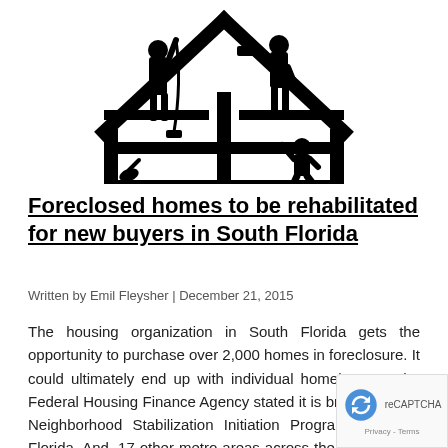[Figure (illustration): Black and white silhouette illustration of a house frame under construction with three workers — one appears to be painting or working on a wall with a roller on a cord, another uses a tool at the roof peak, and a third works near the right side of the frame.]
Foreclosed homes to be rehabilitated for new buyers in South Florida
Written by Emil Fleysher | December 21, 2015
The housing organization in South Florida gets the opportunity to purchase over 2,000 homes in foreclosure. It could ultimately end up with individual homebuyers. The Federal Housing Finance Agency stated it is broadening its Neighborhood Stabilization Initiation Program to South Florida. And, 17 other metro areas across the nation. How does Neighborhood Stabilization Initiation Program work? Since the beginning of December, housing groups got the